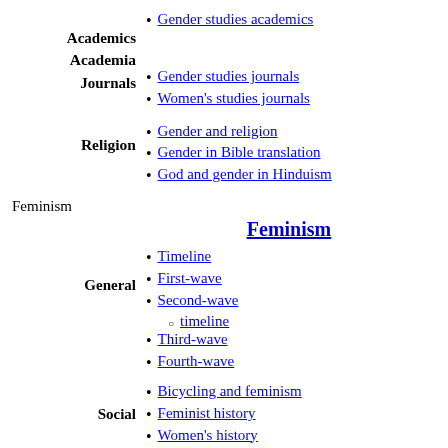Academics
Gender studies academics
Academia
Journals
Gender studies journals
Women's studies journals
Religion
Gender and religion
Gender in Bible translation
God and gender in Hinduism
Feminism
Feminism
General
Timeline
First-wave
Second-wave
timeline
Third-wave
Fourth-wave
Social
Bicycling and feminism
Feminist history
Women's history
Timeline of women's legal rights (other than voting)
Timeline